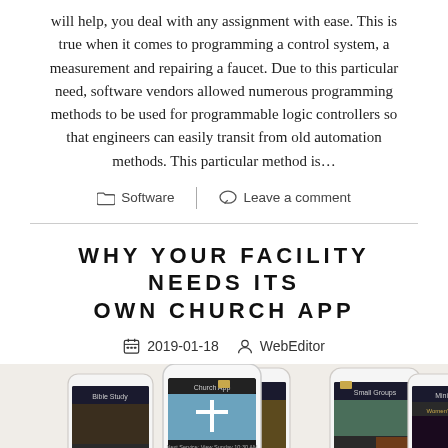will help, you deal with any assignment with ease. This is true when it comes to programming a control system, a measurement and repairing a faucet. Due to this particular need, software vendors allowed numerous programming methods to be used for programmable logic controllers so that engineers can easily transit from old automation methods. This particular method is…
Software
Leave a comment
WHY YOUR FACILITY NEEDS ITS OWN CHURCH APP
2019-01-18  WebEditor
[Figure (photo): Five smartphones displaying different screens of a Church App, including Bible Study, Sermons, Church App main screen, Small Groups, and Ministries.]